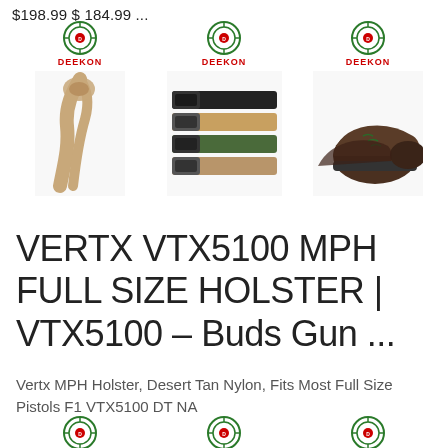$198.99 $ 184.99 ...
[Figure (photo): Three product listings with Deekon logos: a tan scarf/shemagh, a set of tactical belts in black/green/tan colors, and brown tactical shoes/boots]
VERTX VTX5100 MPH FULL SIZE HOLSTER | VTX5100 – Buds Gun ...
Vertx MPH Holster, Desert Tan Nylon, Fits Most Full Size Pistols F1 VTX5100 DT NA
[Figure (photo): Three more Deekon product listings partially visible at bottom of page]